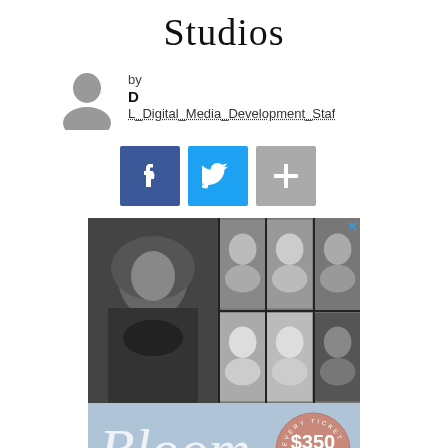Studios
by
D
L_Digital_Media_Development_Staf
[Figure (infographic): Social media share buttons: Facebook (blue), Twitter (light blue), and a gray plus/add button]
[Figure (photo): Advertisement image for Bloom Inspiration Summit showing a collage of 7 women's black and white headshot photos above a light blue banner with Bloom script logo and a circular badge showing $350 gift value. Close X button in top right corner.]